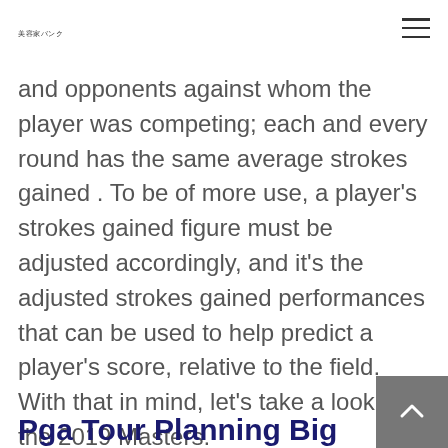美容家バンク
and opponents against whom the player was competing; each and every round has the same average strokes gained . To be of more use, a player's strokes gained figure must be adjusted accordingly, and it's the adjusted strokes gained performances that can be used to help predict a player's score, relative to the field. With that in mind, let's take a look at the 2019 Masters.
Pga Tour Planning Big